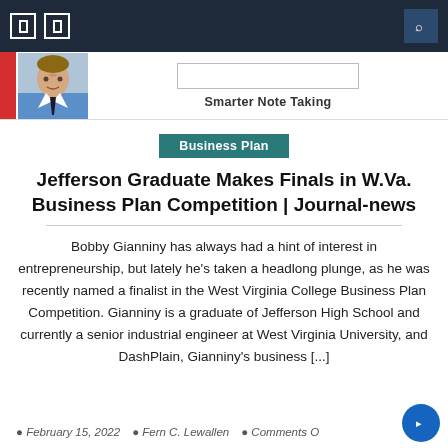Navigation bar with icons and search
[Figure (photo): Profile photo of a young man in a blue shirt with a search bar and site title 'Smarter Note Taking']
Smarter Note Taking
Business Plan
Jefferson Graduate Makes Finals in W.Va. Business Plan Competition | Journal-news
Bobby Gianniny has always had a hint of interest in entrepreneurship, but lately he's taken a headlong plunge, as he was recently named a finalist in the West Virginia College Business Plan Competition. Gianniny is a graduate of Jefferson High School and currently a senior industrial engineer at West Virginia University, and DashPlain, Gianniny's business [...]
February 15, 2022  Fern C. Lewallen  Comments O